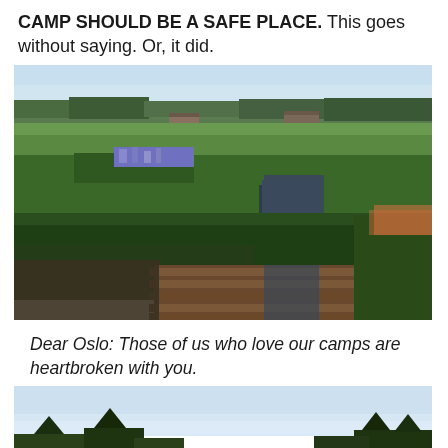CAMP SHOULD BE A SAFE PLACE. This goes without saying. Or, it did.
[Figure (photo): Outdoor camp landscape with a wooden bridge or boardwalk in the foreground over a small stream, lush green meadow grass and wildflowers in the middle ground, conifer trees on the horizon, and a light hazy sky. Buildings are visible in the far distance.]
Dear Oslo: Those of us who love our camps are heartbroken with you.
[Figure (photo): Partial view of another outdoor camp or natural landscape, showing a bright sky with conifer trees along the bottom edge, cropped at the bottom of the page.]